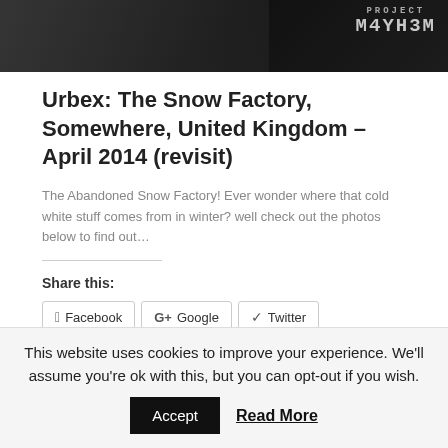[Figure (photo): Dark banner photo showing an abandoned industrial interior, with a stylized watermark reading 'PROJECT M4YH3M' in the top right corner]
Urbex: The Snow Factory, Somewhere, United Kingdom – April 2014 (revisit)
The Abandoned Snow Factory! Ever wonder where that cold white stuff comes from in winter? well check out the photos below to find out…
Share this:
Facebook | Google | Twitter | Pinterest | Reddit | WhatsApp | More
Read details
This website uses cookies to improve your experience. We'll assume you're ok with this, but you can opt-out if you wish.
Accept | Read More